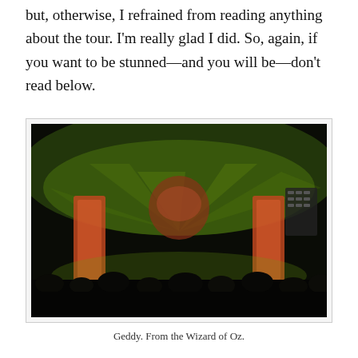but, otherwise, I refrained from reading anything about the tour. I'm really glad I did. So, again, if you want to be stunned—and you will be—don't read below.
[Figure (photo): Concert photo showing a performer on stage with dramatic green lighting, large illuminated columns/pillars on the sides, a face projected on a screen in the background, and a crowd of silhouettes in the foreground.]
Geddy. From the Wizard of Oz.